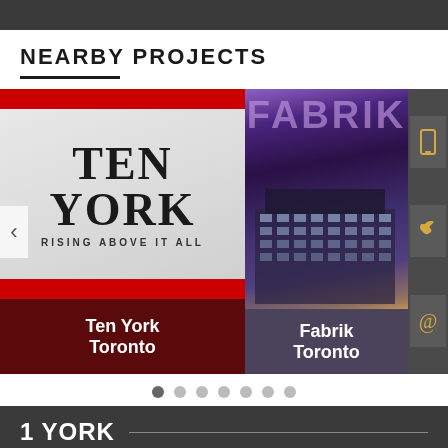NEARBY PROJECTS
[Figure (photo): Ten York project card — red bars top and bottom, large serif text 'TEN YORK' and 'RISING ABOVE IT ALL', dark red name overlay reading 'Ten York Toronto']
[Figure (photo): Fabrik Toronto project card — purple-toned building photo with 'FABRIK' text overlay and name overlay reading 'Fabrik Toronto']
1 YORK
Overview